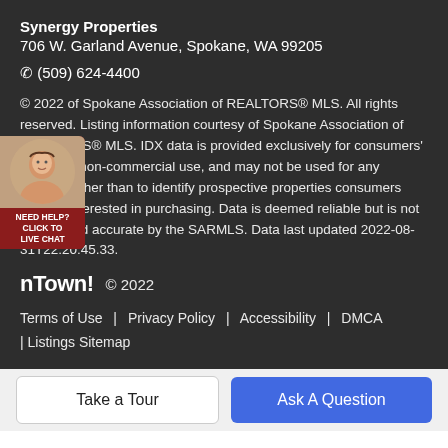Synergy Properties
706 W. Garland Avenue, Spokane, WA 99205
☎ (509) 624-4400
© 2022 of Spokane Association of REALTORS® MLS. All rights reserved. Listing information courtesy of Spokane Association of REALTORS® MLS. IDX data is provided exclusively for consumers' personal, non-commercial use, and may not be used for any purpose other than to identify prospective properties consumers may be interested in purchasing. Data is deemed reliable but is not guaranteed accurate by the SARMLS. Data last updated 2022-08-31T22:20:45.33.
HomeTown! © 2022
Terms of Use | Privacy Policy | Accessibility | DMCA | Listings Sitemap
Take a Tour
Ask A Question